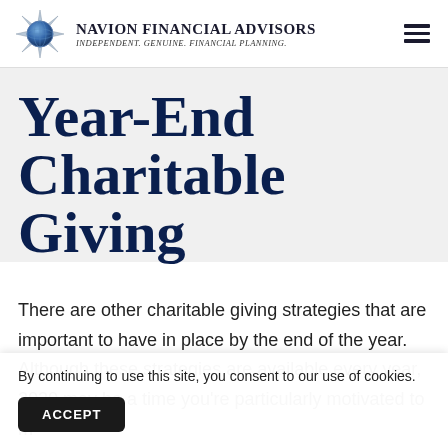Navion Financial Advisors — Independent. Genuine. Financial Planning.
Year-End Charitable Giving
There are other charitable giving strategies that are important to have in place by the end of the year. Although these strategies are available every year, 2020 may be a time you're particularly motivated to m... g... h...
By continuing to use this site, you consent to our use of cookies.